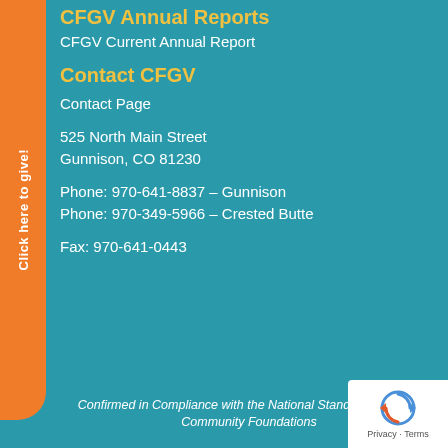CFGV Annual Reports
CFGV Current Annual Report
Contact CFGV
Contact Page
525 North Main Street
Gunnison, CO 81230
Phone: 970-641-8837 – Gunnison
Phone: 970-349-5966 – Crested Butte
Fax: 970-641-0443
Confirmed in Compliance with the National Standards for U.S. Community Foundations